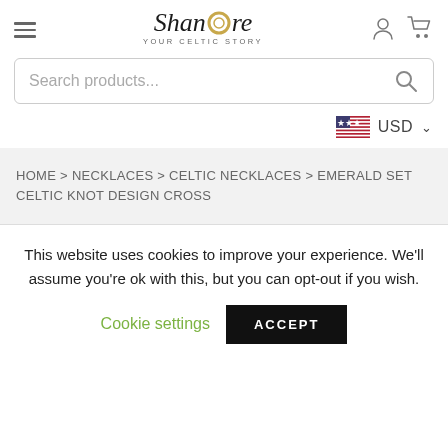ShanOre – YOUR CELTIC STORY
Search products...
USD
HOME > NECKLACES > CELTIC NECKLACES > EMERALD SET CELTIC KNOT DESIGN CROSS
This website uses cookies to improve your experience. We'll assume you're ok with this, but you can opt-out if you wish.
Cookie settings  ACCEPT